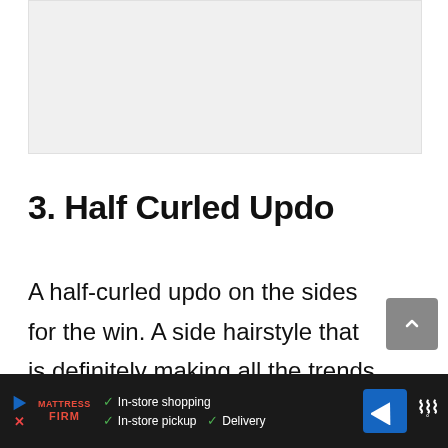[Figure (photo): Image placeholder area — light gray rectangle representing an embedded photo]
3. Half Curled Updo
A half-curled updo on the sides for the win. A side hairstyle that is definitely making all the trends simply with the beautiful way in which it falls gracefully and...been
[Figure (screenshot): Advertisement bar at bottom: Mattress Firm ad with In-store shopping, In-store pickup, Delivery checkmarks and navigation icon]